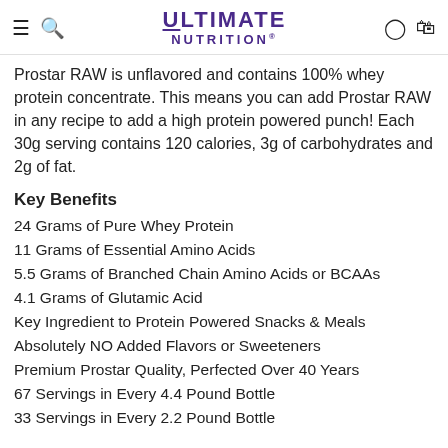ULTIMATE NUTRITION
Prostar RAW is unflavored and contains 100% whey protein concentrate. This means you can add Prostar RAW in any recipe to add a high protein powered punch! Each 30g serving contains 120 calories, 3g of carbohydrates and 2g of fat.
Key Benefits
24 Grams of Pure Whey Protein
11 Grams of Essential Amino Acids
5.5 Grams of Branched Chain Amino Acids or BCAAs
4.1 Grams of Glutamic Acid
Key Ingredient to Protein Powered Snacks & Meals
Absolutely NO Added Flavors or Sweeteners
Premium Prostar Quality, Perfected Over 40 Years
67 Servings in Every 4.4 Pound Bottle
33 Servings in Every 2.2 Pound Bottle